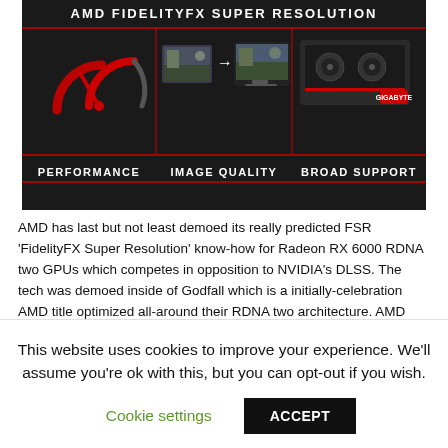[Figure (infographic): AMD FidelityFX Super Resolution infographic showing three pillars: Performance (red speedometer icon), Image Quality (game screenshot with arrow), and Broad Support (AMD Radeon RX GPU card). Dark background with red accents and white text.]
AMD has last but not least demoed its really predicted FSR 'FidelityFX Super Resolution' know-how for Radeon RX 6000 RDNA two GPUs which competes in opposition to NVIDIA's DLSS. The tech was demoed inside of Godfall which is a initially-celebration AMD title optimized all-around their RDNA two architecture. AMD FSR 'FidelityFX Super Resolution' Official –
This website uses cookies to improve your experience. We'll assume you're ok with this, but you can opt-out if you wish.